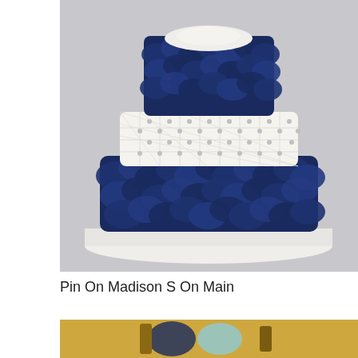[Figure (photo): A three-tiered wedding cake with navy blue fondant petal decorations on the top and bottom tiers, and a white quilted middle tier with silver jewel embellishments, displayed on a white round cake board against a light gray background.]
Pin On Madison S On Main
[Figure (photo): Partial view of another image at the bottom showing what appears to be decorative items on a gold/wooden surface.]